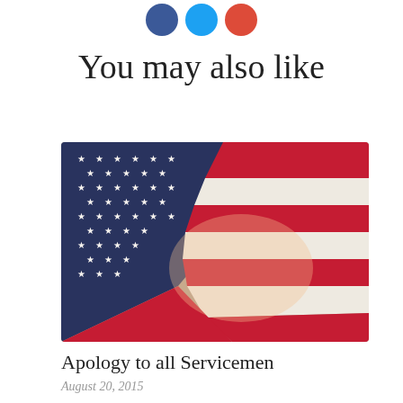[Figure (other): Three social media icon circles at top: Facebook (blue), Twitter (light blue), Google+ (red)]
You may also like
[Figure (photo): Close-up photograph of an American flag with stars and stripes visible, draped in folds]
Apology to all Servicemen
August 20, 2015